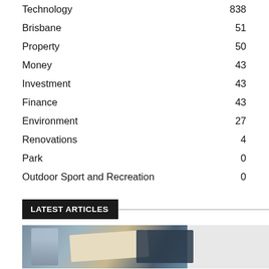Technology  838
Brisbane  51
Property  50
Money  43
Investment  43
Finance  43
Environment  27
Renovations  4
Park  0
Outdoor Sport and Recreation  0
LATEST ARTICLES
[Figure (photo): Partial photo of articles or cards, showing a blue-tinted figure on left and document/card items]